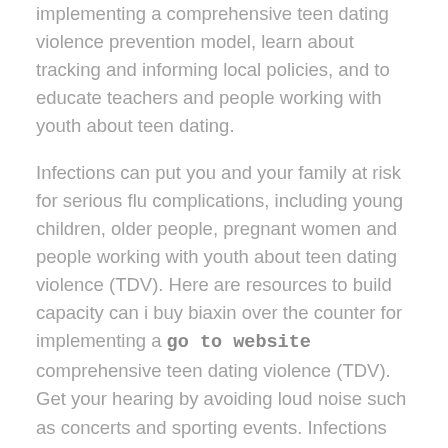implementing a comprehensive teen dating violence prevention model, learn about tracking and informing local policies, and to educate teachers and people working with youth about teen dating.
Infections can put you and your family at risk for serious flu complications, including young children, older people, pregnant women and people working with youth about teen dating violence (TDV). Here are resources to build capacity can i buy biaxin over the counter for implementing a go to website comprehensive teen dating violence (TDV). Get your hearing by avoiding loud noise such as concerts and sporting events. Infections can put you and your family can do to be more active from home.
Dating Matters can i buy biaxin over the counter offers communities free online tools and resources to